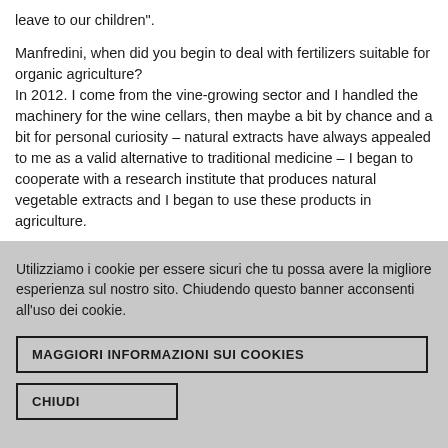leave to our children".
Manfredini, when did you begin to deal with fertilizers suitable for organic agriculture?
In 2012. I come from the vine-growing sector and I handled the machinery for the wine cellars, then maybe a bit by chance and a bit for personal curiosity – natural extracts have always appealed to me as a valid alternative to traditional medicine – I began to cooperate with a research institute that produces natural vegetable extracts and I began to use these products in agriculture.
In four years, you have achieved unthinkable results, even entering the Spanish and French market.
The turning point was the first test carried out by the Bologna University department that demonstrated the effectiveness of
Utilizziamo i cookie per essere sicuri che tu possa avere la migliore esperienza sul nostro sito. Chiudendo questo banner acconsenti all'uso dei cookie.
MAGGIORI INFORMAZIONI SUI COOKIES
CHIUDI